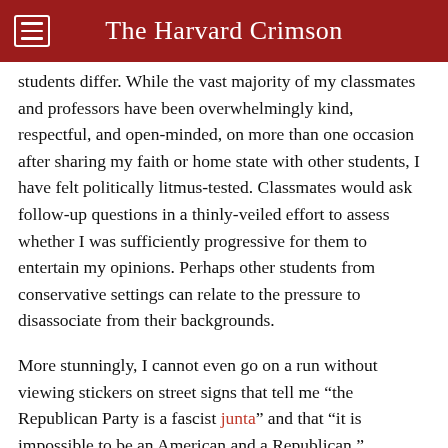The Harvard Crimson
students differ. While the vast majority of my classmates and professors have been overwhelmingly kind, respectful, and open-minded, on more than one occasion after sharing my faith or home state with other students, I have felt politically litmus-tested. Classmates would ask follow-up questions in a thinly-veiled effort to assess whether I was sufficiently progressive for them to entertain my opinions. Perhaps other students from conservative settings can relate to the pressure to disassociate from their backgrounds.
More stunningly, I cannot even go on a run without viewing stickers on street signs that tell me “the Republican Party is a fascist junta” and that “it is impossible to be an American and a Republican.”
In all honesty, I, too, am infuriated by Republican officials’ deception and cowardice on topics like election integrity and climate change. The courage of January 6 has been